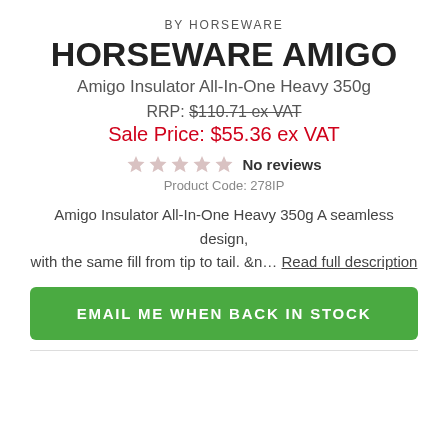BY HORSEWARE
HORSEWARE AMIGO
Amigo Insulator All-In-One Heavy 350g
RRP: $110.71 ex VAT
Sale Price: $55.36 ex VAT
No reviews
Product Code: 278IP
Amigo Insulator All-In-One Heavy 350g A seamless design, with the same fill from tip to tail. &n… Read full description
EMAIL ME WHEN BACK IN STOCK